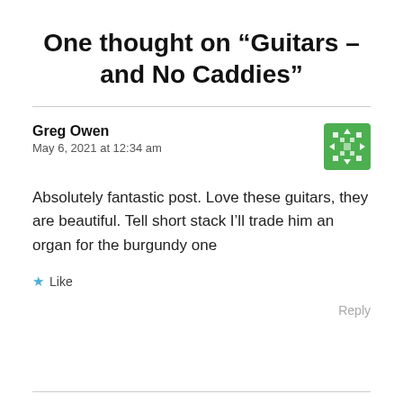One thought on “Guitars – and No Caddies”
Greg Owen
May 6, 2021 at 12:34 am
Absolutely fantastic post. Love these guitars, they are beautiful. Tell short stack I’ll trade him an organ for the burgundy one
★ Like
Reply